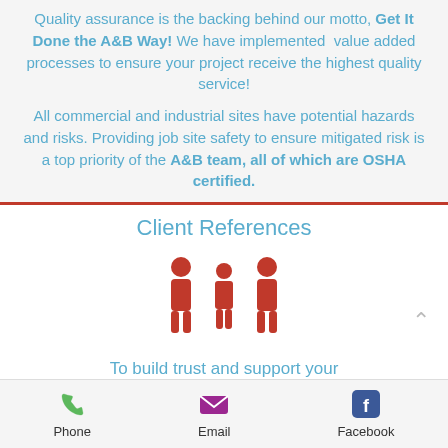Quality assurance is the backing behind our motto, Get It Done the A&B Way! We have implemented value added processes to ensure your project receive the highest quality service!
All commercial and industrial sites have potential hazards and risks. Providing job site safety to ensure mitigated risk is a top priority of the A&B team, all of which are OSHA certified.
Client References
[Figure (illustration): Three red human figure icons representing people/clients]
To build trust and support your
Phone  Email  Facebook